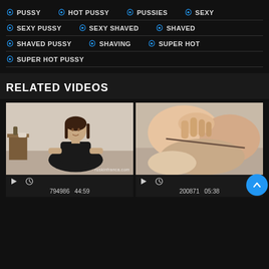PUSSY
HOT PUSSY
PUSSIES
SEXY
SEXY PUSSY
SEXY SHAVED
SHAVED
SHAVED PUSSY
SHAVING
SUPER HOT
SUPER HOT PUSSY
RELATED VIDEOS
[Figure (photo): Video thumbnail showing a young woman with dark hair sitting in a room, watermark ruskinfranca.com]
[Figure (photo): Video thumbnail showing close-up adult content]
794986  44:59
200871  05:38